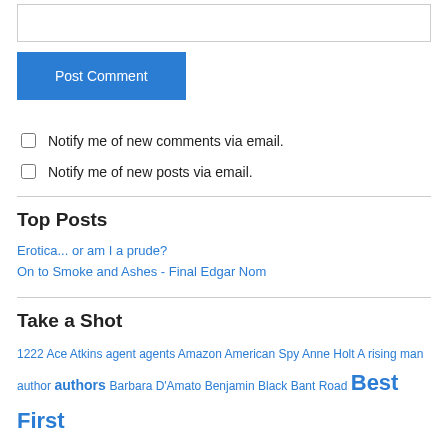[textarea/comment box]
Post Comment
Notify me of new comments via email.
Notify me of new posts via email.
Top Posts
Erotica... or am I a prude?
On to Smoke and Ashes - Final Edgar Nom
Take a Shot
1222 Ace Atkins agent agents Amazon American Spy Anne Holt A rising man author authors Barbara D'Amato Benjamin Black Bant Road Best First